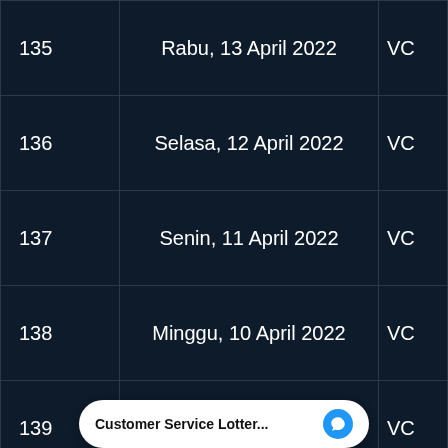| No | Tanggal |  |
| --- | --- | --- |
| 135 | Rabu, 13 April 2022 | VC |
| 136 | Selasa, 12 April 2022 | VC |
| 137 | Senin, 11 April 2022 | VC |
| 138 | Minggu, 10 April 2022 | VC |
| 139 | Sabtu, 09 April 2022 | VC |
| 140 | Jumat, 08 April 2022 | VC |
| 141 | Kamis, 07 April 2022 | VC |
Customer Service Lotter...